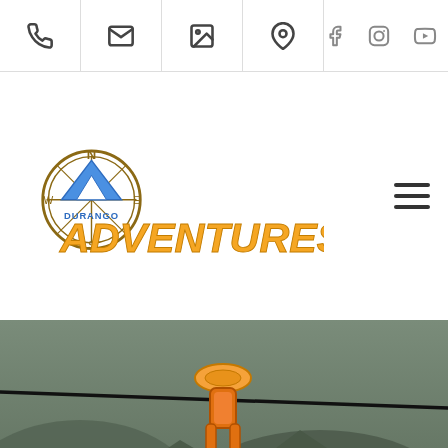Navigation bar with phone, email, gallery, location icons and social media icons (Facebook, Instagram, YouTube, Yelp)
[Figure (logo): Durango Adventures logo with compass rose and mountains]
[Figure (photo): Close-up of a zipline trolley/pulley on a cable with mountainous terrain in background and a person in a helmet visible at right. Text overlaid: DURANGO ADVENTURES with a Book Now button.]
DURANGO ADVENTURES
Book Now